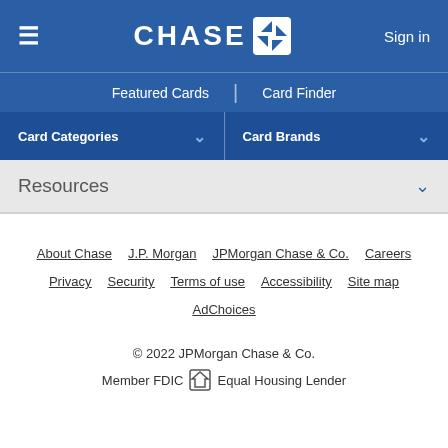CHASE — Sign in
Featured Cards | Card Finder
Card Categories | Card Brands
Resources
About Chase
J.P. Morgan
JPMorgan Chase & Co.
Careers
Privacy
Security
Terms of use
Accessibility
Site map
AdChoices
© 2022 JPMorgan Chase & Co.
Member FDIC  Equal Housing Lender